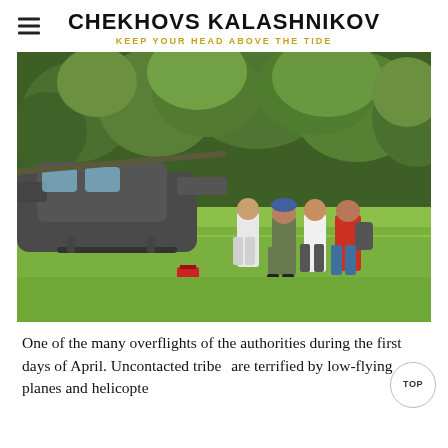CHEKHOVS KALASHNIKOV
KEEP YOUR HEAD ABOVE THE TIDE
[Figure (photo): A helicopter on a grassy airstrip with several people standing nearby, surrounded by tropical jungle. One person wears military fatigues with a blue beret, others are in civilian clothes including a red jacket. The helicopter is dark colored and faces left.]
One of the many overflights of the authorities during the first days of April. Uncontacted tribes are terrified by low-flying planes and helicopte